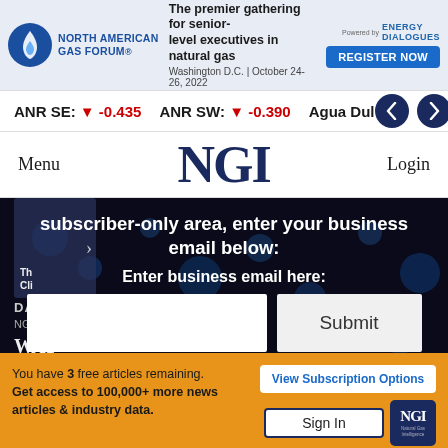NORTH AMERICAN GAS FORUM® — The premier gathering for senior-level executives in natural gas — Washington D.C. | October 24-26, 2022 — REGISTER NOW
ANR SE: ▼ -0.435   ANR SW: ▼ -0.390   Agua Du…
Menu   NGI   Login
subscriber-only area, enter your business email below:
Enter business email here:
Submit
You have 3 free articles remaining. Get access to 100,000+ more news articles & industry data.
View Subscription Options
Sign In